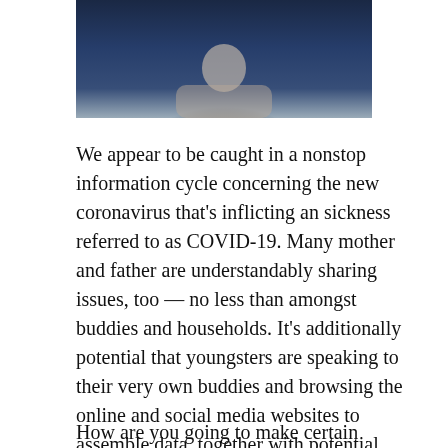[Figure (photo): Dark-toned photograph of a person, likely holding something, with blue and grey tones suggesting a nighttime or dim indoor scene.]
We appear to be caught in a nonstop information cycle concerning the new coronavirus that's inflicting an sickness referred to as COVID-19. Many mother and father are understandably sharing issues, too — no less than amongst buddies and households. It's additionally potential that youngsters are speaking to their very own buddies and browsing the online and social media websites to assemble data, together with potential misinformation.
How are you going to make certain youngsters